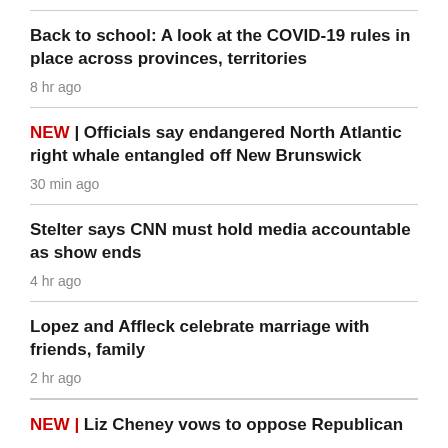Back to school: A look at the COVID-19 rules in place across provinces, territories
8 hr ago
NEW | Officials say endangered North Atlantic right whale entangled off New Brunswick
30 min ago
Stelter says CNN must hold media accountable as show ends
4 hr ago
Lopez and Affleck celebrate marriage with friends, family
2 hr ago
NEW | Liz Cheney vows to oppose Republican